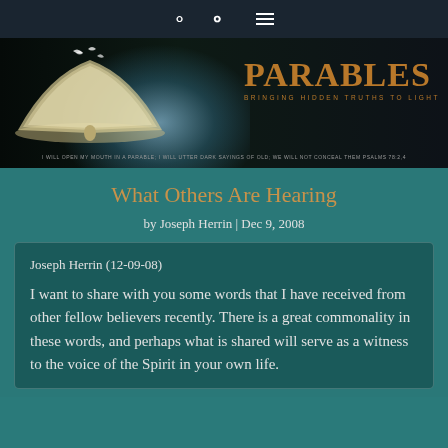Navigation bar with search and menu icons
[Figure (logo): Parables - Bringing Hidden Truths to Light banner with open glowing book and butterflies]
What Others Are Hearing
by Joseph Herrin | Dec 9, 2008
Joseph Herrin (12-09-08)
I want to share with you some words that I have received from other fellow believers recently. There is a great commonality in these words, and perhaps what is shared will serve as a witness to the voice of the Spirit in your own life.